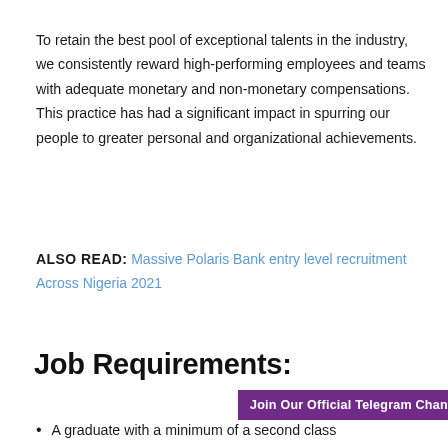To retain the best pool of exceptional talents in the industry, we consistently reward high-performing employees and teams with adequate monetary and non-monetary compensations. This practice has had a significant impact in spurring our people to greater personal and organizational achievements.
ALSO READ: Massive Polaris Bank entry level recruitment Across Nigeria 2021
Job Requirements:
Join Our Official Telegram Channel
A graduate with a minimum of a second class